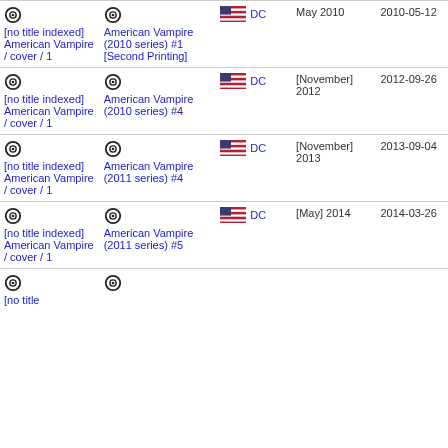|  | Issue | Publisher | Date | Added |
| --- | --- | --- | --- | --- |
| [no title indexed] American Vampire / cover / 1 | American Vampire (2010 series) #1 [Second Printing] | DC | May 2010 | 2010-05-12 |
| [no title indexed] American Vampire / cover / 1 | American Vampire (2010 series) #4 | DC | [November] 2012 | 2012-09-26 |
| [no title indexed] American Vampire / cover / 1 | American Vampire (2011 series) #4 | DC | [November] 2013 | 2013-09-04 |
| [no title indexed] American Vampire / cover / 1 | American Vampire (2011 series) #5 | DC | [May] 2014 | 2014-03-26 |
| [no title indexed] ... | ... | ... | ... | ... |